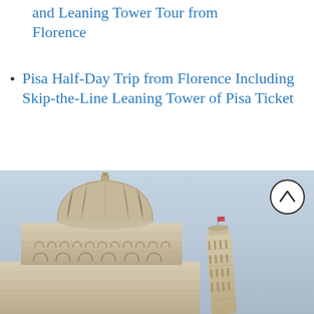and Leaning Tower Tour from Florence
Pisa Half-Day Trip from Florence Including Skip-the-Line Leaning Tower of Pisa Ticket
Highlights of Tuscany: Siena, San Gimignano, Chianti, and Pisa with Lunch in a Chianti Winery
[Figure (photo): Photograph of the Pisa Cathedral (Duomo) and the Leaning Tower of Pisa against a light grey sky]